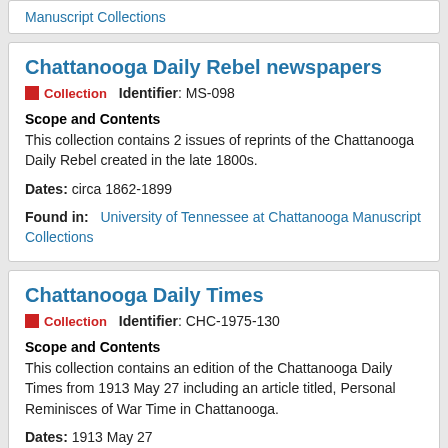Manuscript Collections
Chattanooga Daily Rebel newspapers
Collection   Identifier: MS-098
Scope and Contents
This collection contains 2 issues of reprints of the Chattanooga Daily Rebel created in the late 1800s.
Dates: circa 1862-1899
Found in:   University of Tennessee at Chattanooga Manuscript Collections
Chattanooga Daily Times
Collection   Identifier: CHC-1975-130
Scope and Contents
This collection contains an edition of the Chattanooga Daily Times from 1913 May 27 including an article titled, Personal Reminisces of War Time in Chattanooga.
Dates: 1913 May 27